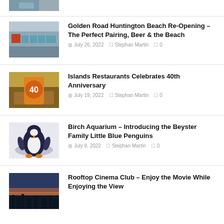[Figure (photo): Partial thumbnail of a venue interior at top of page]
[Figure (photo): Restaurant interior with orange accents and blue/green chairs]
Golden Road Huntington Beach Re-Opening – The Perfect Pairing, Beer & the Beach
July 26, 2022  Stephan Martin  0
[Figure (photo): Islands Restaurants 40th anniversary bottle display]
Islands Restaurants Celebrates 40th Anniversary
July 19, 2022  Stephan Martin  0
[Figure (photo): Little Blue Penguin at Birch Aquarium]
Birch Aquarium – Introducing the Beyster Family Little Blue Penguins
July 8, 2022  Stephan Martin  0
[Figure (photo): Rooftop cinema at dusk with city skyline]
Rooftop Cinema Club – Enjoy the Movie While Enjoying the View